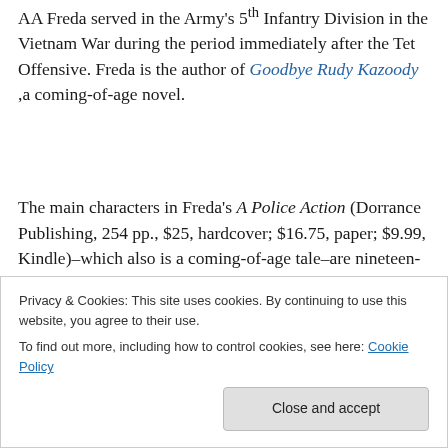AA Freda served in the Army's 5th Infantry Division in the Vietnam War during the period immediately after the Tet Offensive. Freda is the author of Goodbye Rudy Kazoody ,a coming-of-age novel.
The main characters in Freda's A Police Action (Dorrance Publishing, 254 pp., $25, hardcover; $16.75, paper; $9.99, Kindle)–which also is a coming-of-age tale–are nineteen-
Privacy & Cookies: This site uses cookies. By continuing to use this website, you agree to their use. To find out more, including how to control cookies, see here: Cookie Policy